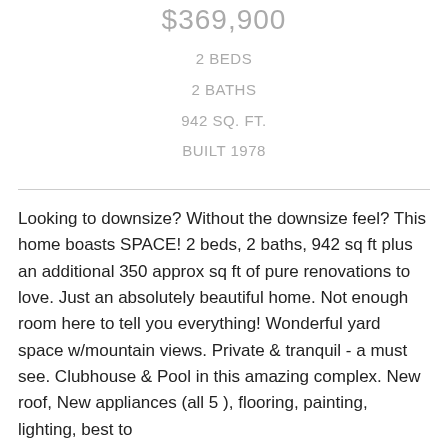$369,900
2 BEDS
2 BATHS
942 SQ. FT.
BUILT 1978
Looking to downsize? Without the downsize feel? This home boasts SPACE! 2 beds, 2 baths, 942 sq ft plus an additional 350 approx sq ft of pure renovations to love. Just an absolutely beautiful home. Not enough room here to tell you everything! Wonderful yard space w/mountain views. Private & tranquil - a must see. Clubhouse & Pool in this amazing complex. New roof, New appliances (all 5 ), flooring, painting, lighting, best to